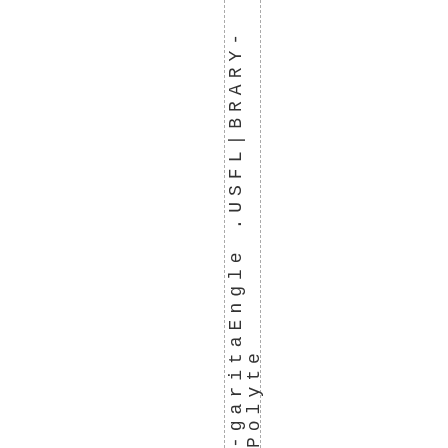-garitaEngle .USFL|BRARY-Polyte